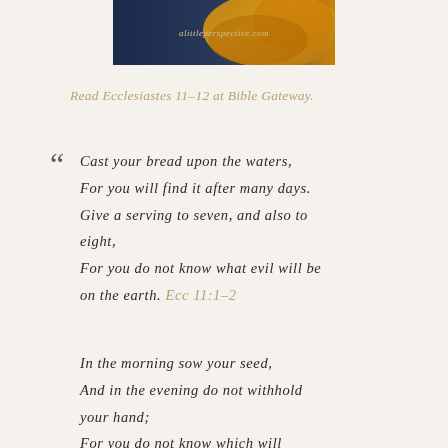[Figure (photo): Decorative banner image with dark navy and golden tones, featuring text 'alittleperspective.com']
Read Ecclesiastes 11-12 at Bible Gateway.
Cast your bread upon the waters, For you will find it after many days. Give a serving to seven, and also to eight, For you do not know what evil will be on the earth. Ecc 11:1-2
In the morning sow your seed, And in the evening do not withhold your hand; For you do not know which will